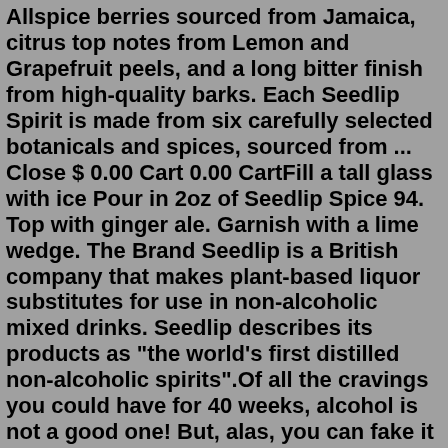Allspice berries sourced from Jamaica, citrus top notes from Lemon and Grapefruit peels, and a long bitter finish from high-quality barks. Each Seedlip Spirit is made from six carefully selected botanicals and spices, sourced from ... Close $ 0.00 Cart 0.00 CartFill a tall glass with ice Pour in 2oz of Seedlip Spice 94. Top with ginger ale. Garnish with a lime wedge. The Brand Seedlip is a British company that makes plant-based liquor substitutes for use in non-alcoholic mixed drinks. Seedlip describes its products as "the world's first distilled non-alcoholic spirits".Of all the cravings you could have for 40 weeks, alcohol is not a good one! But, alas, you can fake it - get all the tasty benefits of your fave lip-smacking spirit but minus the toxins (and baby harm risk). SEEDLIP is the world's first distilled non-alcoholic spirit, solving the ever-growing dilemma of 'what to drink when you're Not drinking ®'.Blended & bottled in England, Seedlip ...The Worlds First Distilled Non-Alcoholic Spirits A complex blend of aromatic Jamaican Allspice berry & Cardamom distillates with two